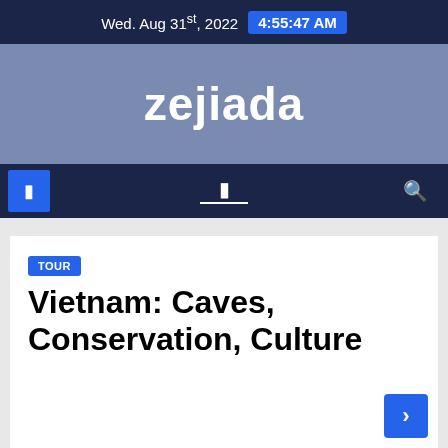Wed. Aug 31st, 2022  4:55:47 AM
zejiada
navigation bar with icons
TOUR
Vietnam: Caves, Conservation, Culture